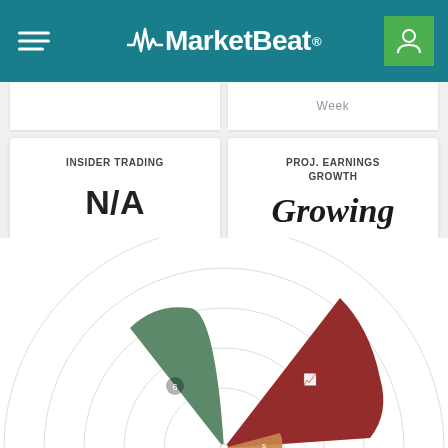MarketBeat
Week
INSIDER TRADING
N/A
PROJ. EARNINGS GROWTH
Growing
From ($6.78) to ($0.65) Per Share
[Figure (radar-chart): Partial radar/spider chart with colored wedge segments in dark red, green, purple, and orange, with concentric circle gridlines. Only the bottom portion is visible.]